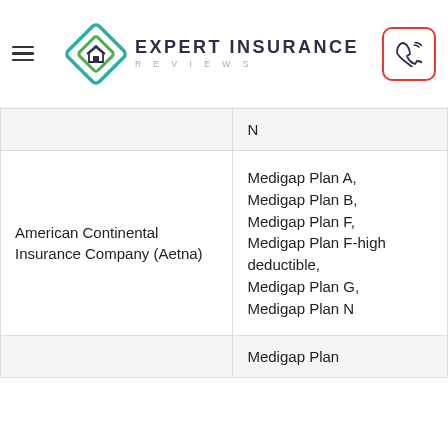Expert Insurance Reviews
| Company | Plans Offered |
| --- | --- |
|  | N |
| American Continental Insurance Company (Aetna) | Medigap Plan A, Medigap Plan B, Medigap Plan F, Medigap Plan F-high deductible, Medigap Plan G, Medigap Plan N |
|  | Medigap Plan |